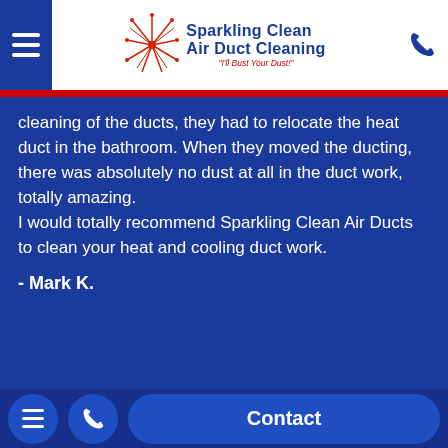[Figure (logo): Sparkling Clean Air Duct Cleaning logo with firework/spark graphic and tagline 'I'll Bust Your Dust!']
cleaning of the ducts, they had to relocate the heat duct in the bathroom. When they moved the ducting, there was absolutely no dust at all in the duct work, totally amazing.
I would totally recommend Sparkling Clean Air Ducts to clean your heat and cooling duct work.
- Mark K.